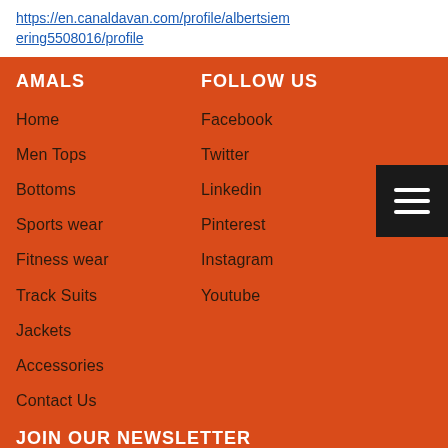https://en.canaldavan.com/profile/albertsiemering5508016/profile
AMALS
FOLLOW US
Home
Men Tops
Bottoms
Sports wear
Fitness wear
Track Suits
Jackets
Accessories
Contact Us
Facebook
Twitter
Linkedin
Pinterest
Instagram
Youtube
JOIN OUR NEWSLETTER